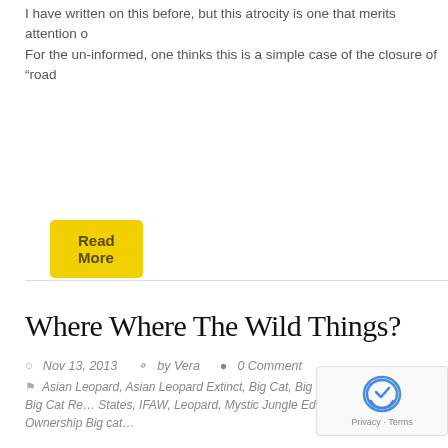I have written on this before, but this atrocity is one that merits attention o
For the un-informed, one thinks this is a simple case of the closure of “road
Read More
Where Where The Wild Things?
Nov 13, 2013   by Vera   0 Comment
Asian Leopard, Asian Leopard Extinct, Big Cat, Big Cat Public Safety Act, Big Cat Re… States, IFAW, Leopard, Mystic Jungle Educational Facility, Private Ownership Big cat…
[Figure (logo): reCAPTCHA logo with Privacy and Terms text]